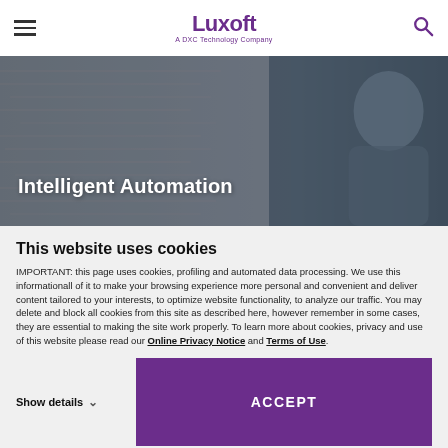Luxoft — A DXC Technology Company (navigation header)
[Figure (photo): Hero banner image showing a developer looking at a screen with code/text, dark overlay, with text 'Intelligent Automation']
This website uses cookies
IMPORTANT: this page uses cookies, profiling and automated data processing. We use this informationall of it to make your browsing experience more personal and convenient and deliver content tailored to your interests, to optimize website functionality, to analyze our traffic. You may delete and block all cookies from this site as described here, however remember in some cases, they are essential to making the site work properly. To learn more about cookies, privacy and use of this website please read our Online Privacy Notice and Terms of Use.
Show details
ACCEPT